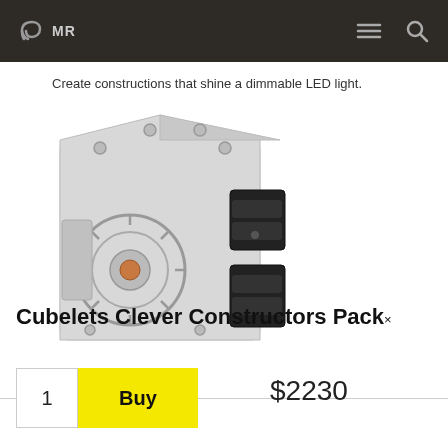MR
Create constructions that shine a dimmable LED light.
[Figure (photo): A transparent cubelet module showing internal components including gears and rollers, with black connector elements on the right side.]
Cubelets Clever Constructors Pack×
1  Buy  $2230